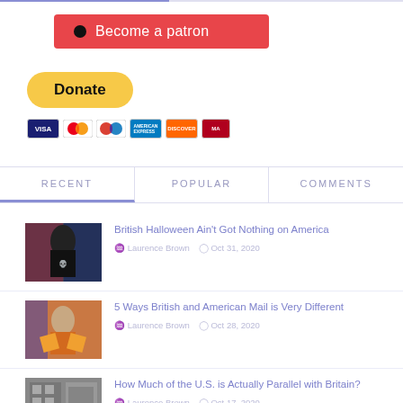[Figure (other): Patreon 'Become a patron' button in red]
[Figure (other): PayPal Donate button with payment card icons (Visa, Mastercard, PayPal, Amex, Discover, and another card)]
RECENT | POPULAR | COMMENTS
[Figure (photo): Thumbnail of a person in Halloween costume with US/UK flags]
British Halloween Ain't Got Nothing on America
Laurence Brown  Oct 31, 2020
[Figure (photo): Thumbnail of a man with glasses in orange shirt with US/UK flags]
5 Ways British and American Mail is Very Different
Laurence Brown  Oct 28, 2020
[Figure (photo): Thumbnail of outdoor stone wall or building]
How Much of the U.S. is Actually Parallel with Britain?
Laurence Brown  Oct 17, 2020